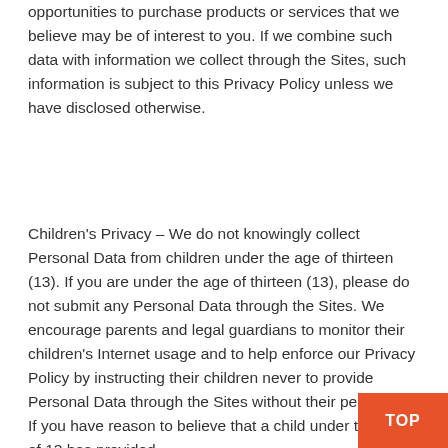opportunities to purchase products or services that we believe may be of interest to you. If we combine such data with information we collect through the Sites, such information is subject to this Privacy Policy unless we have disclosed otherwise.
Children's Privacy – We do not knowingly collect Personal Data from children under the age of thirteen (13). If you are under the age of thirteen (13), please do not submit any Personal Data through the Sites. We encourage parents and legal guardians to monitor their children's Internet usage and to help enforce our Privacy Policy by instructing their children never to provide Personal Data through the Sites without their permission. If you have reason to believe that a child under the age of 13 has provided